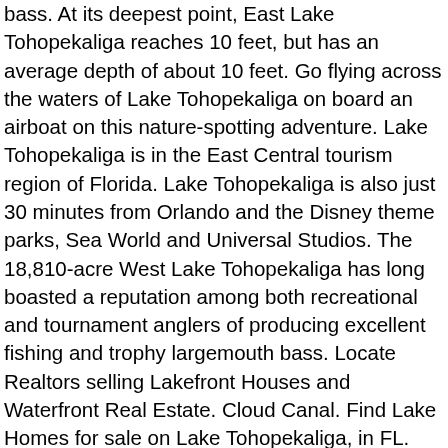bass. At its deepest point, East Lake Tohopekaliga reaches 10 feet, but has an average depth of about 10 feet. Go flying across the waters of Lake Tohopekaliga on board an airboat on this nature-spotting adventure. Lake Tohopekaliga is in the East Central tourism region of Florida. Lake Tohopekaliga is also just 30 minutes from Orlando and the Disney theme parks, Sea World and Universal Studios. The 18,810-acre West Lake Tohopekaliga has long boasted a reputation among both recreational and tournament anglers of producing excellent fishing and trophy largemouth bass. Locate Realtors selling Lakefront Houses and Waterfront Real Estate. Cloud Canal. Find Lake Homes for sale on Lake Tohopekaliga, in FL. Lake Tohopekaliga Moon forecast calculated mathematically. It is surrounded by eucalyptus and paperback trees and a long and thin shore divides the Southern Ocean from the lake. In fact, the hurricanes became part of a perfect-storm scenario that helped clean unwanted vegetation like thick mats of hydrilla from a majority of lakes in the Kissimmee chain and, specifically, from the middle and southern portions of Toho. Good stats to the lake. Find contact info for apartments, houses, and condos